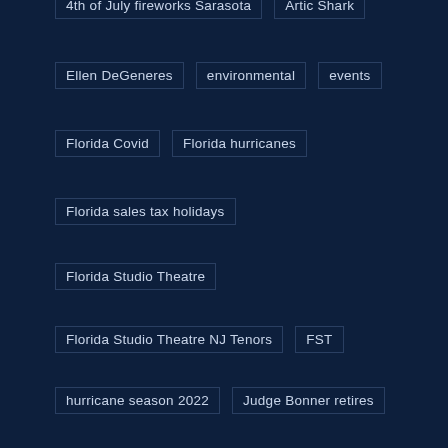4th of July fireworks Sarasota
Artic Shark
Ellen DeGeneres
environmental
events
Florida Covid
Florida hurricanes
Florida sales tax holidays
Florida Studio Theatre
Florida Studio Theatre NJ Tenors
FST
hurricane season 2022
Judge Bonner retires
Key Largo
kimberly bonner
Kimberly Carlton Bonner
mick jagger
Mote Coral Nursery
Mote Marine